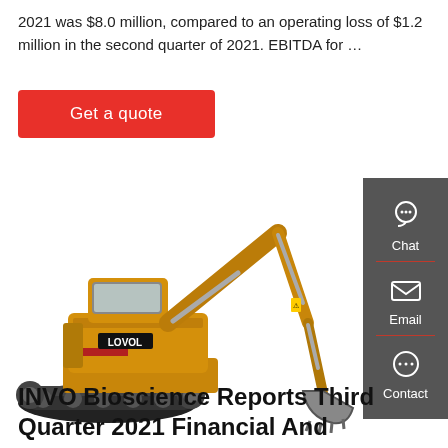2021 was $8.0 million, compared to an operating loss of $1.2 million in the second quarter of 2021. EBITDA for …
[Figure (other): Red 'Get a quote' button]
[Figure (photo): Yellow LOVOL excavator/construction machinery on white background with a dark grey sidebar showing Chat, Email, and Contact icons]
INVO Bioscience Reports Third Quarter 2021 Financial And